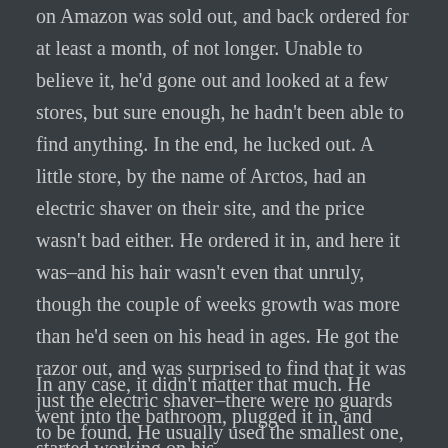on Amazon was sold out, and back ordered for at least a month, of not longer. Unable to believe it, he'd gone out and looked at a few stores, but sure enough, he hadn't been able to find anything. In the end, he lucked out. A little store, by the name of Arctos, had an electric shaver on their site, and the price wasn't bad either. He ordered it in, and here it was–and his hair wasn't even that unruly, though the couple of weeks growth was more than he'd seen on his head in ages. He got the razor out, and was surprised to find that it was just the electric shaver–there were no guards to be found. He usually used the smallest one, but it was still odd that it wouldn't have them.
In any case, it didn't matter that much. He went into the bathroom, plugged it in, and started working on his